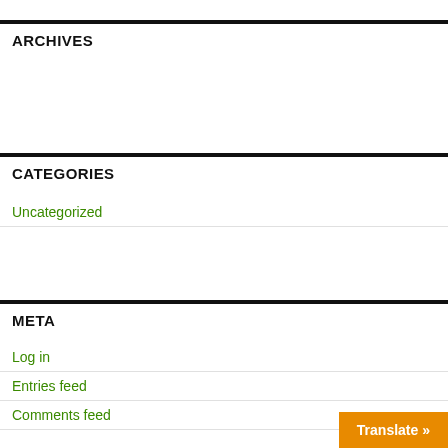ARCHIVES
CATEGORIES
Uncategorized
META
Log in
Entries feed
Comments feed
Translate »